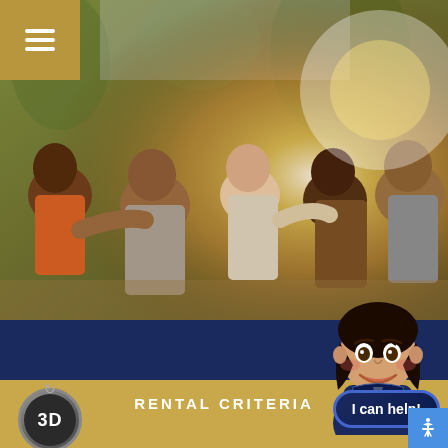[Figure (photo): Group of diverse young friends laughing and having fun outdoors, piggyback riding in warm golden sunlight with trees in background]
[Figure (illustration): Animated female virtual assistant character with dark hair, smiling, wearing blue jacket]
RENTAL CRITERIA
RESIDENT LOGIN